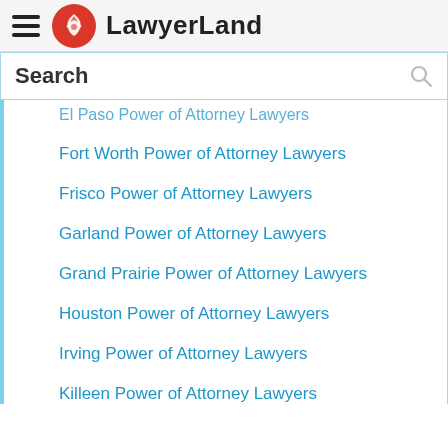LawyerLand
Search
El Paso Power of Attorney Lawyers
Fort Worth Power of Attorney Lawyers
Frisco Power of Attorney Lawyers
Garland Power of Attorney Lawyers
Grand Prairie Power of Attorney Lawyers
Houston Power of Attorney Lawyers
Irving Power of Attorney Lawyers
Killeen Power of Attorney Lawyers